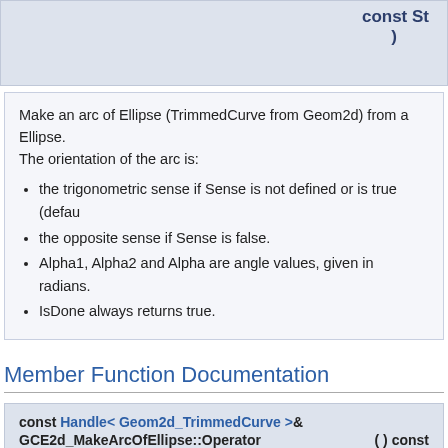const St
)
Make an arc of Ellipse (TrimmedCurve from Geom2d) from a Ellipse. The orientation of the arc is:
the trigonometric sense if Sense is not defined or is true (defau
the opposite sense if Sense is false.
Alpha1, Alpha2 and Alpha are angle values, given in radians.
IsDone always returns true.
Member Function Documentation
const Handle< Geom2d_TrimmedCurve >&
GCE2d_MakeArcOfEllipse::Operator ( ) const
GCE2d_MakeArcOfEllipse::operator